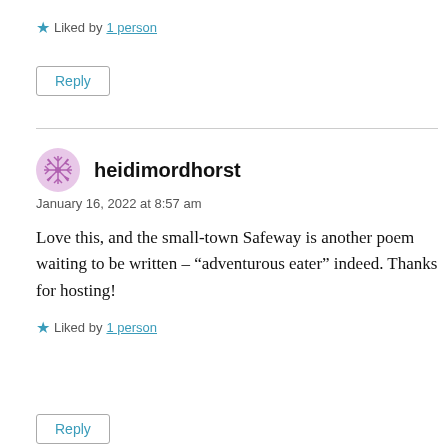★ Liked by 1 person
Reply
heidimordhorst
January 16, 2022 at 8:57 am
Love this, and the small-town Safeway is another poem waiting to be written – "adventurous eater" indeed. Thanks for hosting!
★ Liked by 1 person